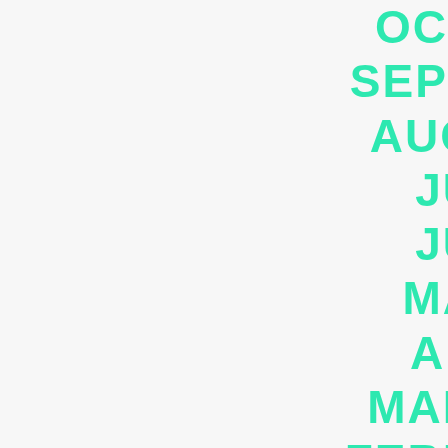OCT
SEPT
AUG
JU
JU
MA
AP
MAR
FEBR
JAN
DEC
NOV